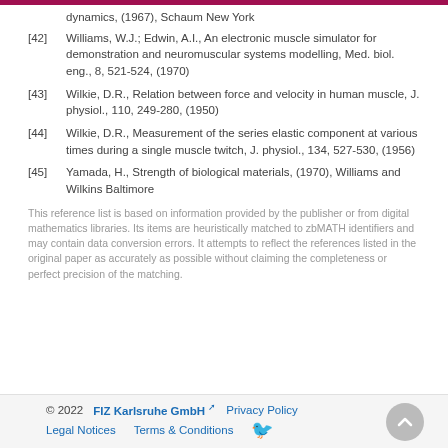[continuation of reference list]
[42] Williams, W.J.; Edwin, A.I., An electronic muscle simulator for demonstration and neuromuscular systems modelling, Med. biol. eng., 8, 521-524, (1970)
[43] Wilkie, D.R., Relation between force and velocity in human muscle, J. physiol., 110, 249-280, (1950)
[44] Wilkie, D.R., Measurement of the series elastic component at various times during a single muscle twitch, J. physiol., 134, 527-530, (1956)
[45] Yamada, H., Strength of biological materials, (1970), Williams and Wilkins Baltimore
This reference list is based on information provided by the publisher or from digital mathematics libraries. Its items are heuristically matched to zbMATH identifiers and may contain data conversion errors. It attempts to reflect the references listed in the original paper as accurately as possible without claiming the completeness or perfect precision of the matching.
© 2022  FIZ Karlsruhe GmbH  Privacy Policy  Legal Notices  Terms & Conditions